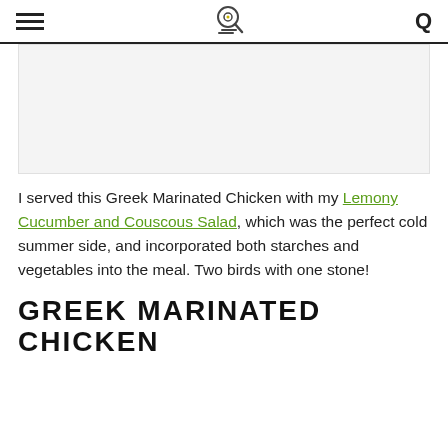≡  [logo]  Q
[Figure (photo): Placeholder image area, light gray background]
I served this Greek Marinated Chicken with my Lemony Cucumber and Couscous Salad, which was the perfect cold summer side, and incorporated both starches and vegetables into the meal. Two birds with one stone!
GREEK MARINATED CHICKEN